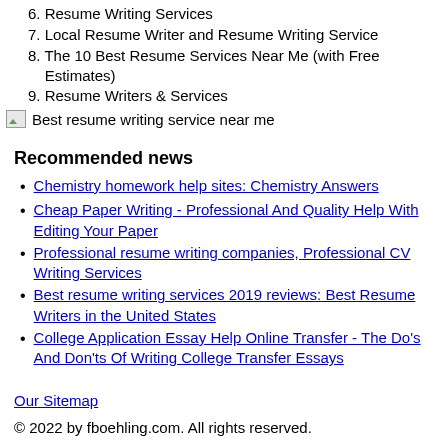6. Resume Writing Services
7. Local Resume Writer and Resume Writing Service
8. The 10 Best Resume Services Near Me (with Free Estimates)
9. Resume Writers & Services
[Figure (photo): Small image thumbnail with text: Best resume writing service near me]
Recommended news
Chemistry homework help sites: Chemistry Answers
Cheap Paper Writing - Professional And Quality Help With Editing Your Paper
Professional resume writing companies, Professional CV Writing Services
Best resume writing services 2019 reviews: Best Resume Writers in the United States
College Application Essay Help Online Transfer - The Do's And Don'ts Of Writing College Transfer Essays
Our Sitemap
© 2022 by fboehling.com. All rights reserved.